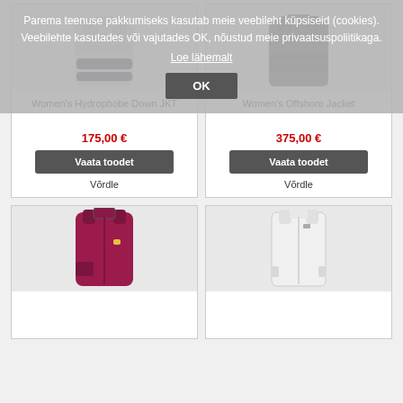[Figure (screenshot): Cookie consent overlay with text in Estonian and OK button, overlaying a product grid of women's jackets]
Women's Hydrophobe Down JKT
175,00 €
Vaata toodet
Võrdle
Women's Offshore Jacket
375,00 €
Vaata toodet
Võrdle